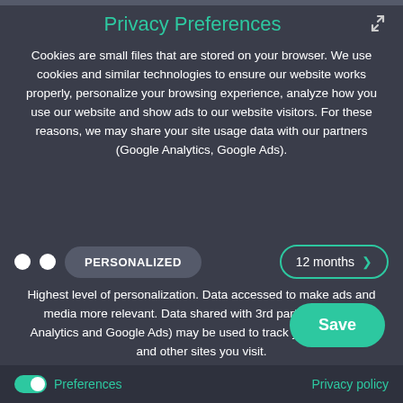Privacy Preferences
Cookies are small files that are stored on your browser. We use cookies and similar technologies to ensure our website works properly, personalize your browsing experience, analyze how you use our website and show ads to our website visitors. For these reasons, we may share your site usage data with our partners (Google Analytics, Google Ads).
[Figure (infographic): Two white dots, a dark pill-shaped button labeled PERSONALIZED, and a dropdown pill showing '12 months' with a teal chevron, representing consent/personalization controls.]
Highest level of personalization. Data accessed to make ads and media more relevant. Data shared with 3rd parties (Google Analytics and Google Ads) may be used to track you on this site and other sites you visit.
[Figure (illustration): A teal 'Save' button (pill shaped).]
Preferences   Privacy policy